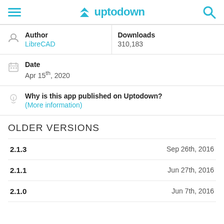uptodown
| Field | Value |
| --- | --- |
| Author | LibreCAD |
| Downloads | 310,183 |
| Date | Apr 15th, 2020 |
| Why is this app published on Uptodown? | (More information) |
OLDER VERSIONS
2.1.3   Sep 26th, 2016
2.1.1   Jun 27th, 2016
2.1.0   Jun 7th, 2016